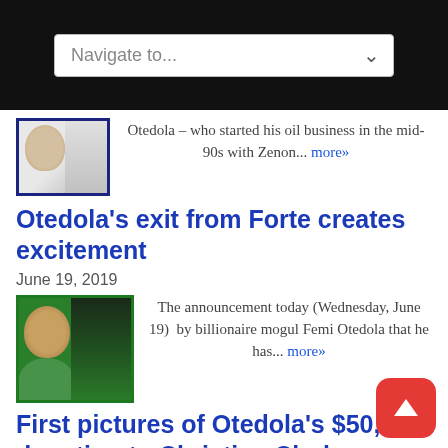[Figure (screenshot): Navigation dropdown bar with black background and 'Navigate to...' selector]
Otedola – who started his oil business in the mid-90s with Zenon... more»
Otedola's exit from Forte creates excitement
June 19, 2019
The announcement today (Wednesday, June 19) by billionaire mogul Femi Otedola that he has... more»
First pictures of Otedola's $50,000 donation to Christian Chukwu emerge